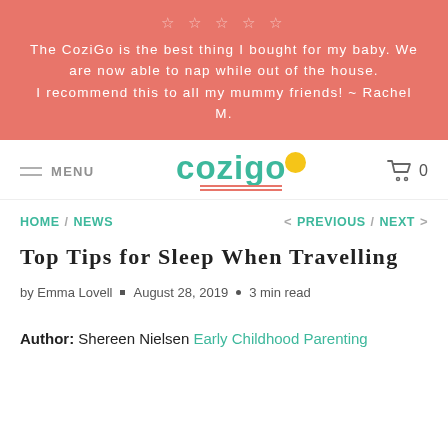☆ ☆ ☆ ☆ ☆
The CoziGo is the best thing I bought for my baby. We are now able to nap while out of the house. I recommend this to all my mummy friends! ~ Rachel M.
MENU  cozigo  0
HOME / NEWS  < PREVIOUS / NEXT >
Top Tips for Sleep When Travelling
by Emma Lovell • August 28, 2019 • 3 min read
Author: Shereen Nielsen Early Childhood Parenting